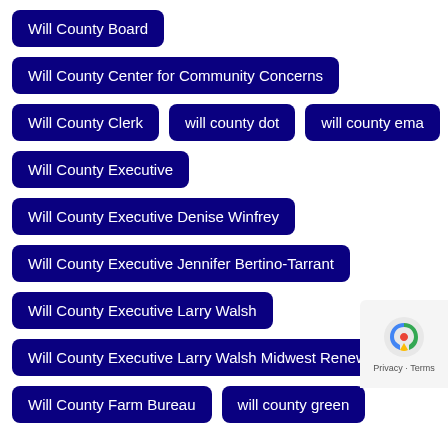Will County Board
Will County Center for Community Concerns
Will County Clerk
will county dot
will county ema
Will County Executive
Will County Executive Denise Winfrey
Will County Executive Jennifer Bertino-Tarrant
Will County Executive Larry Walsh
Will County Executive Larry Walsh Midwest Renewabl
Will County Farm Bureau
will county green